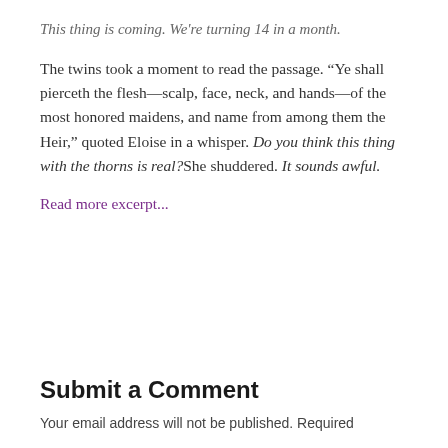This thing is coming. We're turning 14 in a month.
The twins took a moment to read the passage. “Ye shall pierceth the flesh—scalp, face, neck, and hands—of the most honored maidens, and name from among them the Heir,” quoted Eloise in a whisper. Do you think this thing with the thorns is real?She shuddered. It sounds awful.
Read more excerpt...
Submit a Comment
Your email address will not be published. Required